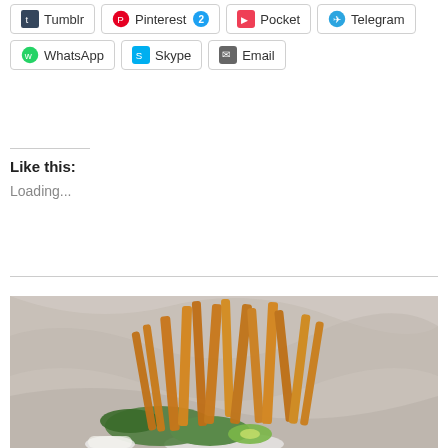Tumblr
Pinterest 2
Pocket
Telegram
WhatsApp
Skype
Email
Like this:
Loading...
[Figure (photo): A bowl of golden crispy french fries standing upright, garnished with fresh green herbs and avocado slices, served with a dipping sauce, on a marble background.]